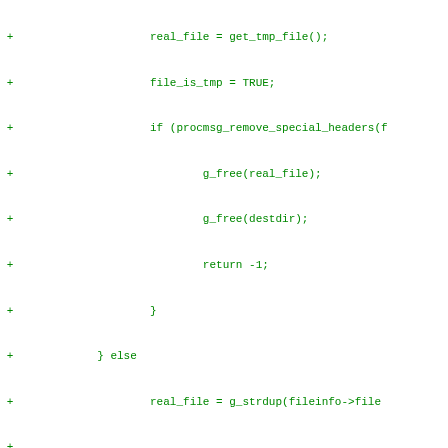[Figure (screenshot): A code diff view showing changes to C source code for imap message handling. Green lines with '+' are additions, red lines with '-' are removals, black lines are context. A hunk header line in magenta shows @@ -1023,6 +1040,8 @@ static gint imap_add_msgs(Folder *fold... followed by more context and diff lines.]